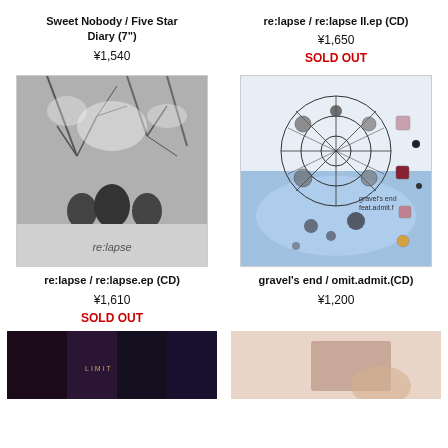Sweet Nobody / Five Star Diary (7")
¥1,540
re:lapse / re:lapse II.ep (CD)
¥1,650
SOLD OUT
[Figure (photo): Black and white photo album cover for re:lapse with figures in nature, labeled re:lapse]
re:lapse / re:lapse.ep (CD)
¥1,610
SOLD OUT
[Figure (photo): Colorful abstract album cover for gravel's end / omit.admit. featuring geometric web structures and spheres]
gravel's end / omit.admit.(CD)
¥1,200
[Figure (photo): Dark album cover partially visible at bottom left]
[Figure (photo): Light pink album cover partially visible at bottom right]